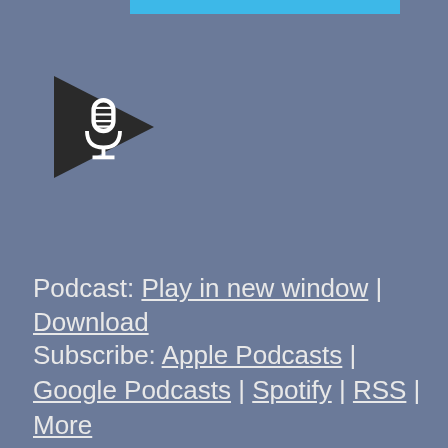[Figure (logo): Podcast play button icon — dark triangular play button with a microphone icon inside, on a gray background]
Podcast: Play in new window | Download
Subscribe: Apple Podcasts | Google Podcasts | Spotify | RSS | More
Today on the Ether we have the philanthropy in web3 AMA hosted by the Angel Alliance. You'll hear from Trev, Tim Stirrup, Chauncey St. John, Coleman, anon intern, the Matic Man, Skeleton Punks, TheDefiJedi, Hermes